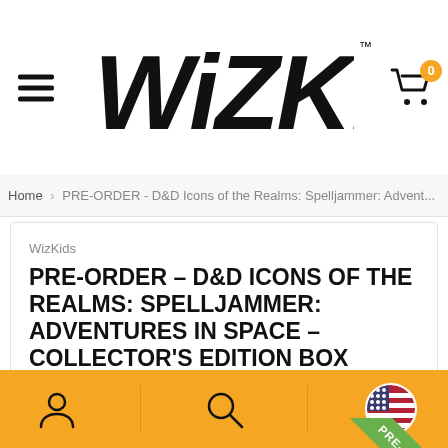WizKids™
Home > PRE-ORDER - D&D Icons of the Realms: Spelljammer: Advent...
WizKids
PRE-ORDER - D&D ICONS OF THE REALMS: SPELLJAMMER: ADVENTURES IN SPACE - COLLECTOR'S EDITION BOX
Code: 96176
[Figure (screenshot): Partial product image visible at bottom, with PRE-ORDER ribbon in green in upper right corner of product card]
Bottom navigation bar with account icon, search icon, and US flag icon on yellow/gold background